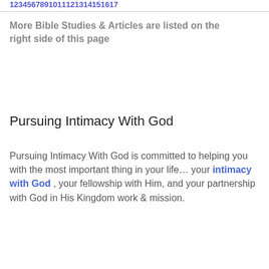123456789101112131415161 7
More Bible Studies & Articles are listed on the right side of this page
Pursuing Intimacy With God
Pursuing Intimacy With God is committed to helping you with the most important thing in your life… your intimacy with God , your fellowship with Him, and your partnership with God in His Kingdom work & mission.